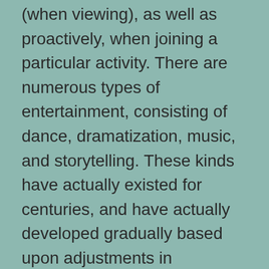(when viewing), as well as proactively, when joining a particular activity. There are numerous types of entertainment, consisting of dance, dramatization, music, and storytelling. These kinds have actually existed for centuries, and have actually developed gradually based upon adjustments in technology, culture, as well as fashion.
While the term ‘home entertainment’ can describe a selection of tasks that call for little or no energetic engagement, it is frequently used to explain a leisure activity that involves a task or a performance. Enjoyment might